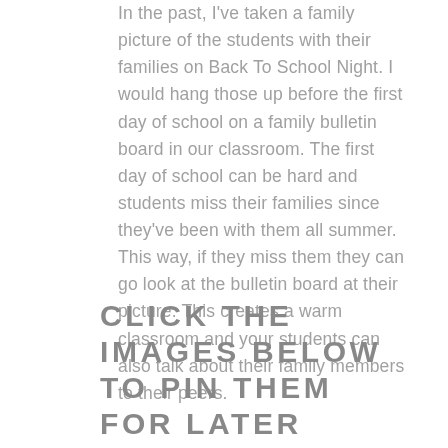In the past, I've taken a family picture of the students with their families on Back To School Night. I would hang those up before the first day of school on a family bulletin board in our classroom. The first day of school can be hard and students miss their families since they've been with them all summer. This way, if they miss them they can go look at the bulletin board at their picture. This creates a warm classroom and your students can also talk about their family members to their peers.
CLICK THE IMAGES BELOW TO PIN THEM FOR LATER